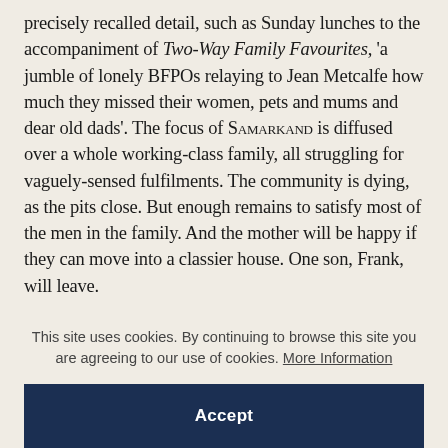precisely recalled detail, such as Sunday lunches to the accompaniment of Two-Way Family Favourites, 'a jumble of lonely BFPOs relaying to Jean Metcalfe how much they missed their women, pets and mums and dear old dads'. The focus of Samarkand is diffused over a whole working-class family, all struggling for vaguely-sensed fulfilments. The community is dying, as the pits close. But enough remains to satisfy most of the men in the family. And the mother will be happy if they can move into a classier house. One son, Frank, will leave.
This site uses cookies. By continuing to browse this site you are agreeing to our use of cookies. More Information
Accept